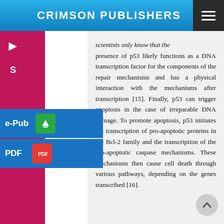CRIMSON PUBLISHERS
scientists only know that the presence of p53 likely functions as a DNA transcription factor for the components of the repair mechanisms and has a physical interaction with the mechanisms after transcription [15]. Finally, p53 can trigger apoptosis in the case of irreparable DNA damage. To promote apoptosis, p53 initiates the transcription of pro-apoptotic proteins in the Bcl-2 family and the transcription of the pro-apoptotic caspase mechanisms. These mechanisms then cause cell death through various pathways, depending on the genes transcribed [16].